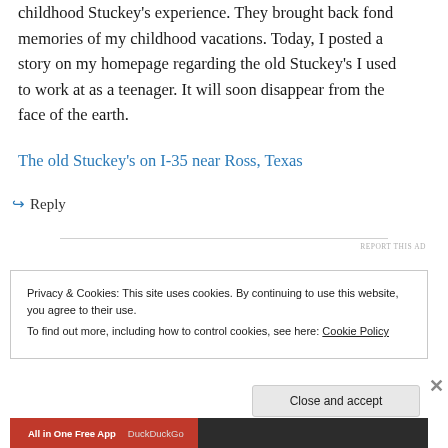childhood Stuckey's experience. They brought back fond memories of my childhood vacations. Today, I posted a story on my homepage regarding the old Stuckey's I used to work at as a teenager. It will soon disappear from the face of the earth.
The old Stuckey's on I-35 near Ross, Texas
↳ Reply
REPORT THIS AD
Privacy & Cookies: This site uses cookies. By continuing to use this website, you agree to their use.
To find out more, including how to control cookies, see here: Cookie Policy
Close and accept
All in One Free App   DuckDuckGo